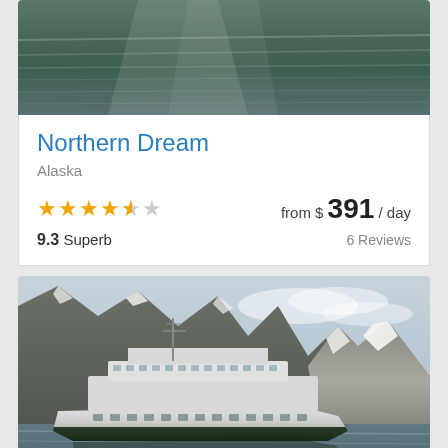[Figure (photo): Top portion of a water/ocean scene with reflective surface, dark greenish water]
Northern Dream
Alaska
★★★★½  from $ 391 / day
9.3 Superb  6 Reviews
[Figure (photo): A cruise ship sailing in Alaskan waters with dramatic rocky mountains and snow-capped peaks in the background]